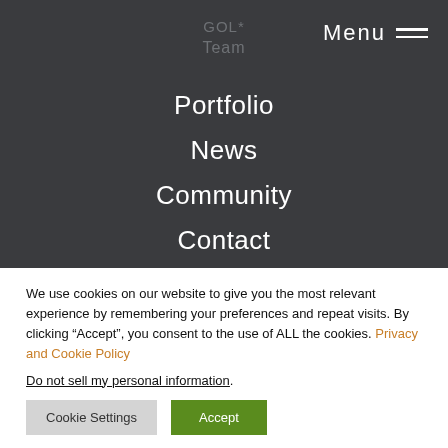GOL* Team
Menu
Portfolio
News
Community
Contact
Career
We use cookies on our website to give you the most relevant experience by remembering your preferences and repeat visits. By clicking “Accept”, you consent to the use of ALL the cookies. Privacy and Cookie Policy

Do not sell my personal information.
Cookie Settings | Accept